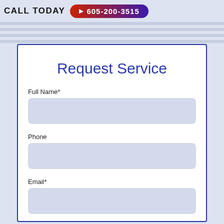CALL TODAY  ▶ 605-200-3515
Request Service
Full Name*
Phone
Email*